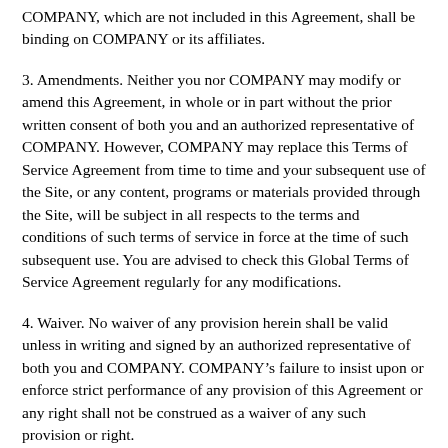COMPANY, which are not included in this Agreement, shall be binding on COMPANY or its affiliates.
3. Amendments. Neither you nor COMPANY may modify or amend this Agreement, in whole or in part without the prior written consent of both you and an authorized representative of COMPANY. However, COMPANY may replace this Terms of Service Agreement from time to time and your subsequent use of the Site, or any content, programs or materials provided through the Site, will be subject in all respects to the terms and conditions of such terms of service in force at the time of such subsequent use. You are advised to check this Global Terms of Service Agreement regularly for any modifications.
4. Waiver. No waiver of any provision herein shall be valid unless in writing and signed by an authorized representative of both you and COMPANY. COMPANY’s failure to insist upon or enforce strict performance of any provision of this Agreement or any right shall not be construed as a waiver of any such provision or right.
5. Severability. If any provision of this Agreement is determined to be illegal or unenforceable, such provision shall be automatically reformed and construed so as to be valid, operative and enforceable to the maximum extent permitted by law or equity while preserving its original intent. The invalidity of any part of this Agreement shall not render invalid the remainder of this